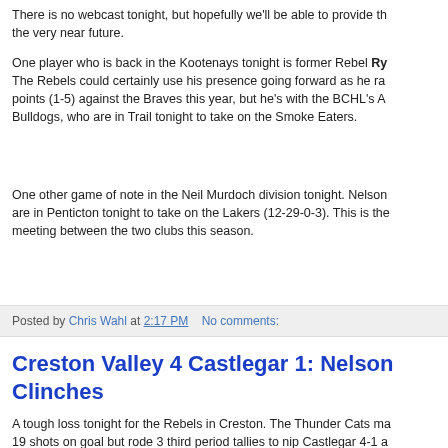There is no webcast tonight, but hopefully we'll be able to provide that in the very near future.
One player who is back in the Kootenays tonight is former Rebel Ry... The Rebels could certainly use his presence going forward as he rac... points (1-5) against the Braves this year, but he's with the BCHL's Ab... Bulldogs, who are in Trail tonight to take on the Smoke Eaters.
One other game of note in the Neil Murdoch division tonight. Nelson... are in Penticton tonight to take on the Lakers (12-29-0-3). This is the... meeting between the two clubs this season.
Posted by Chris Wahl at 2:17 PM   No comments:
Creston Valley 4 Castlegar 1: Nelson Clinches
A tough loss tonight for the Rebels in Creston. The Thunder Cats ma... 19 shots on goal but rode 3 third period tallies to nip Castlegar 4-1 a... Arena. Tyler Robinson with the only Castlegar tally: Travis Ludwa... Swiston, Matt Dixon and Colton Meaden replied for the Cats.